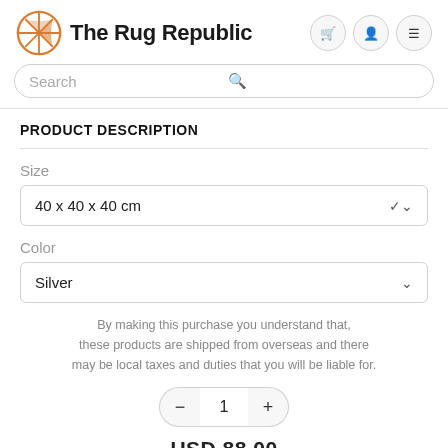The Rug Republic
Search
PRODUCT DESCRIPTION
Size
40 x 40 x 40 cm
Color
Silver
By making this purchase you understand that, these products are shipped from overseas and there may be local taxes and duties that you will be liable for.
1
USD 88.00